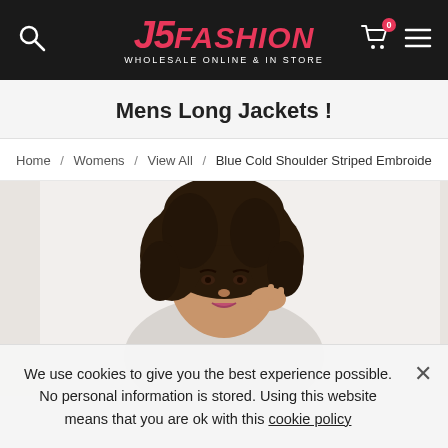J5FASHION WHOLESALE ONLINE & IN STORE
Mens Long Jackets !
Home / Womens / View All / Blue Cold Shoulder Striped Embroide
[Figure (photo): Fashion model with curly hair against white background, product photo for clothing item]
We use cookies to give you the best experience possible. No personal information is stored. Using this website means that you are ok with this cookie policy